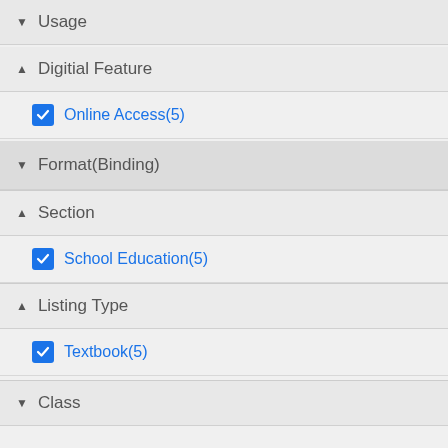▼ Usage
▲ Digitial Feature
Online Access(5)
▼ Format(Binding)
▲ Section
School Education(5)
▲ Listing Type
Textbook(5)
▼ Class